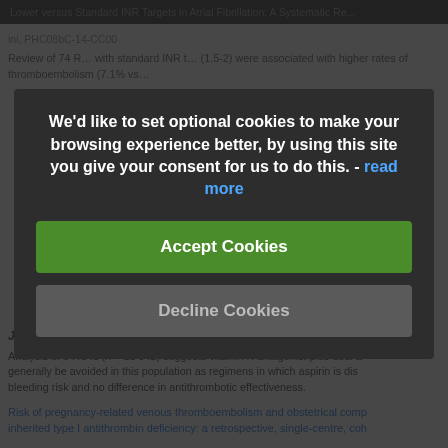Lower versus Standard INR Targets in Atrial Fibrillation: A Systematic Re...
Review of 74 R... with standard INR t... (1.5-2) were associated with higher rates of thromboembolism (7.1% vs...
We'd like to set optional cookies to make your browsing experience better, by using this site you give your consent for us to do this. - read more
Accept Cookies
Decline Cookies
JAMA Cardiology
Analysis of 5 RCTs (n = 11 542) suggests vitamin K antagonist plus dual a... generally be avoided in this population as regimens in which aspirin is dis... bleeding risk and no difference in antithrombotic effectiveness.
Risk of pregnancy-related venous thromboembolism and obstetrical comp... inherited type I antithrombin deficiency: a retrospective, single-centre, coh...
The Lancet Haematology
Study(n=87) confirms this population have high risk of 1st/recurrent VTE c... risk in women with +ve family history(FH), but still relevant in those with–v... molecular-weight heparin prophylaxis should also be considered in these...